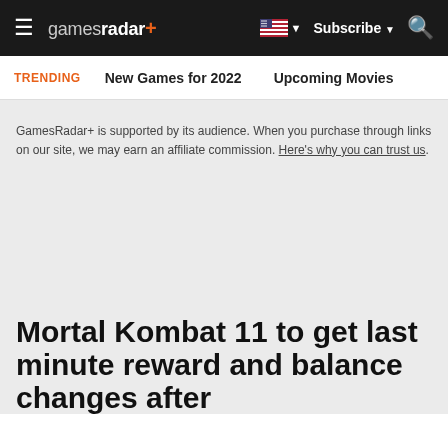gamesradar+ | Subscribe | Search
TRENDING   New Games for 2022   Upcoming Movies
GamesRadar+ is supported by its audience. When you purchase through links on our site, we may earn an affiliate commission. Here's why you can trust us.
Mortal Kombat 11 to get last minute reward and balance changes after